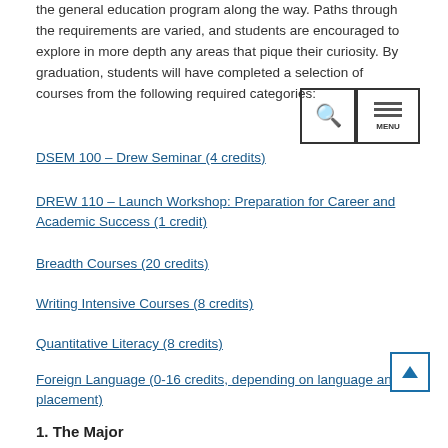the general education program along the way. Paths through the requirements are varied, and students are encouraged to explore in more depth any areas that pique their curiosity. By graduation, students will have completed a selection of courses from the following required categories:
DSEM 100 – Drew Seminar (4 credits)
DREW 110 – Launch Workshop:  Preparation for Career and Academic Success  (1 credit)
Breadth Courses (20 credits)
Writing Intensive Courses (8 credits)
Quantitative Literacy (8 credits)
Foreign Language (0-16 credits, depending on language and placement)
Diversity, Cultural and Global Awareness (8 credits)
1.  The Major